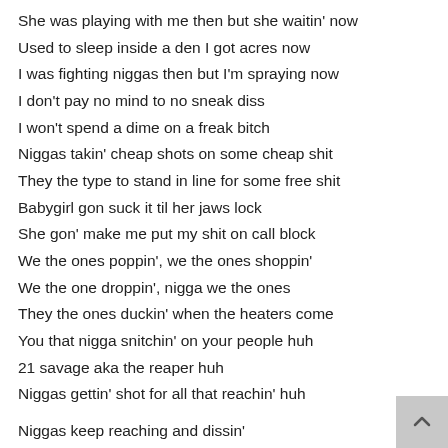She was playing with me then but she waitin' now
Used to sleep inside a den I got acres now
I was fighting niggas then but I'm spraying now
I don't pay no mind to no sneak diss
I won't spend a dime on a freak bitch
Niggas takin' cheap shots on some cheap shit
They the type to stand in line for some free shit
Babygirl gon suck it til her jaws lock
She gon' make me put my shit on call block
We the ones poppin', we the ones shoppin'
We the one droppin', nigga we the ones
They the ones duckin' when the heaters come
You that nigga snitchin' on your people huh
21 savage aka the reaper huh
Niggas gettin' shot for all that reachin' huh

Niggas keep reaching and dissin'